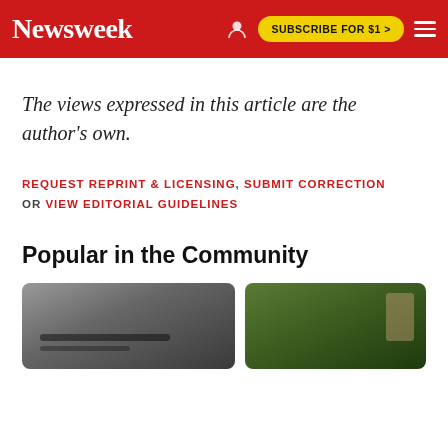Newsweek | SUBSCRIBE FOR $1 >
The views expressed in this article are the author's own.
REQUEST REPRINT & LICENSING, SUBMIT CORRECTION OR VIEW EDITORIAL GUIDELINES
Popular in the Community
[Figure (photo): Two community article thumbnail photos side by side: left shows a dark metallic/industrial scene, right shows green foliage with a person partially visible.]